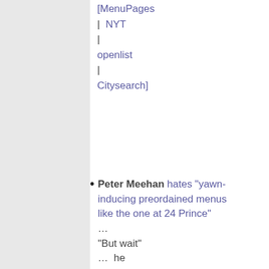[MenuPages | NYT | openlist | Citysearch]
Peter Meehan hates "yawn-inducing preordained menus like the one at 24 Prince" ... "But wait" ... he like...